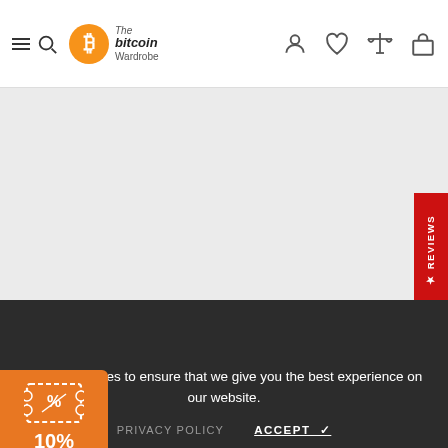The Bitcoin Wardrobe — navigation header with menu, logo, user, wishlist, compare, cart icons
[Figure (screenshot): Product image area — light gray background placeholder]
[Figure (other): Red vertical REVIEWS tab on the right side]
We use cookies to ensure that we give you the best experience on our website.
PRIVACY POLICY   ACCEPT ✓
[Figure (other): Orange coupon badge showing 10% OFF with timer 14:57]
€49,00
S  ▾
ADD TO CART